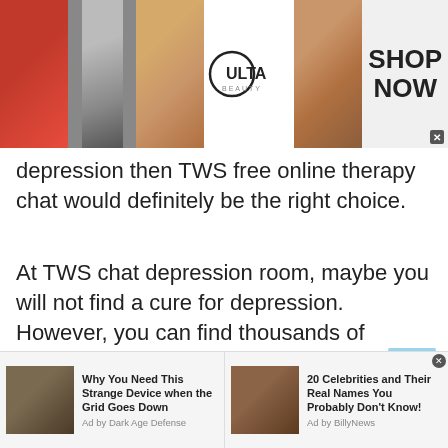[Figure (photo): Top banner advertisement for Ulta Beauty with makeup images (lips, brush, eyes) and 'SHOP NOW' call to action]
depression then TWS free online therapy chat would definitely be the right choice.
At TWS chat depression room, maybe you will not find a cure for depression. However, you can find thousands of friends who are ready to listen to your woes without any judgment. TWS assures to help depressed folks no matter whatever the circumstances. So, talk to strangers in Thailand on TWS and get ultimate guidance or support within no time. TWS always takes care of your mental health.
[Figure (infographic): Bottom advertisement strip with two sponsored content items: 'Why You Need This Strange Device when the Grid Goes Down' (Ad by Dark Age Defense) and '20 Celebrities and Their Real Names You Probably Don't Know!' (Ad by BillyNews)]